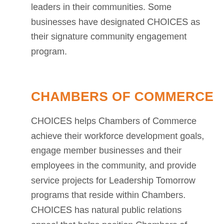leaders in their communities. Some businesses have designated CHOICES as their signature community engagement program.
CHAMBERS OF COMMERCE
CHOICES helps Chambers of Commerce achieve their workforce development goals, engage member businesses and their employees in the community, and provide service projects for Leadership Tomorrow programs that reside within Chambers. CHOICES has natural public relations appeal that helps position Chambers of Commerce as giving, caring leaders in their communities.